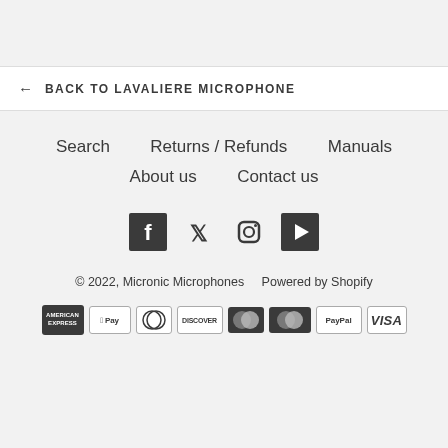← BACK TO LAVALIERE MICROPHONE
Search
Returns / Refunds
Manuals
About us
Contact us
[Figure (infographic): Social media icons: Facebook, Twitter, Instagram, YouTube]
© 2022, Micronic Microphones    Powered by Shopify
[Figure (infographic): Payment method icons: American Express, Apple Pay, Diners Club, Discover, Maestro, Mastercard, PayPal, Visa]